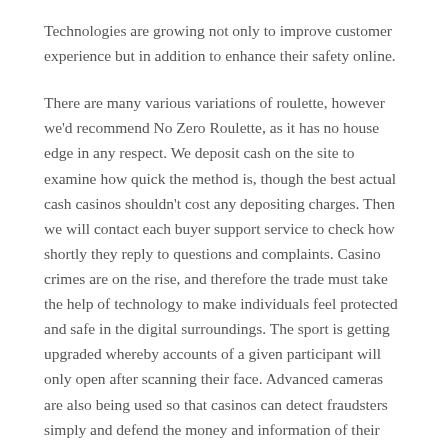Technologies are growing not only to improve customer experience but in addition to enhance their safety online.
There are many various variations of roulette, however we'd recommend No Zero Roulette, as it has no house edge in any respect. We deposit cash on the site to examine how quick the method is, though the best actual cash casinos shouldn't cost any depositing charges. Then we will contact each buyer support service to check how shortly they reply to questions and complaints. Casino crimes are on the rise, and therefore the trade must take the help of technology to make individuals feel protected and safe in the digital surroundings. The sport is getting upgraded whereby accounts of a given participant will only open after scanning their face. Advanced cameras are also being used so that casinos can detect fraudsters simply and defend the money and information of their clients.
Ultimately, if you would like to play on line casino video games